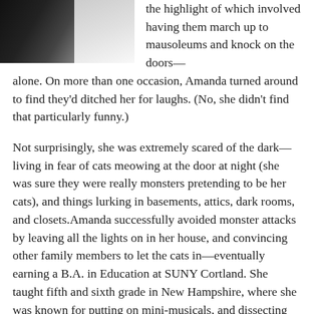[Figure (photo): Partial photo of a person, dark clothing with zipper visible, black and white/neutral tones]
the highlight of which involved having them march up to mausoleums and knock on the doors—alone. On more than one occasion, Amanda turned around to find they'd ditched her for laughs. (No, she didn't find that particularly funny.)
Not surprisingly, she was extremely scared of the dark—living in fear of cats meowing at the door at night (she was sure they were really monsters pretending to be her cats), and things lurking in basements, attics, dark rooms, and closets.Amanda successfully avoided monster attacks by leaving all the lights on in her house, and convincing other family members to let the cats in—eventually earning a B.A. in Education at SUNY Cortland. She taught fifth and sixth grade in New Hampshire, where she was known for putting on mini-musicals, and dissecting eyeballs and owl pellets with her students.
After taking a very early retirement to raise a family and write novels, some of which have vampires and other